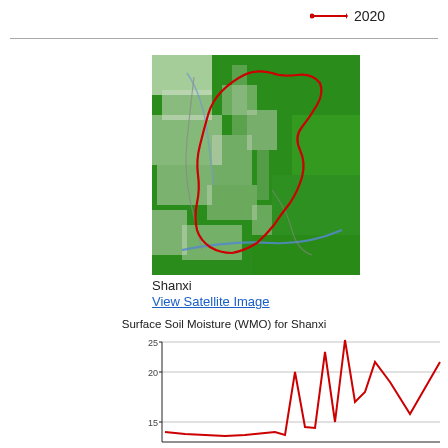[Figure (other): Legend item: red line with arrow labeled 2020]
[Figure (map): Satellite/vegetation map of Shanxi region with red boundary outline and blue river]
Shanxi
View Satellite Image
Surface Soil Moisture (WMO) for Shanxi
[Figure (line-chart): Partial line chart showing surface soil moisture values, y-axis visible from ~15 to 25, red line visible at bottom of chart rising sharply at right side]